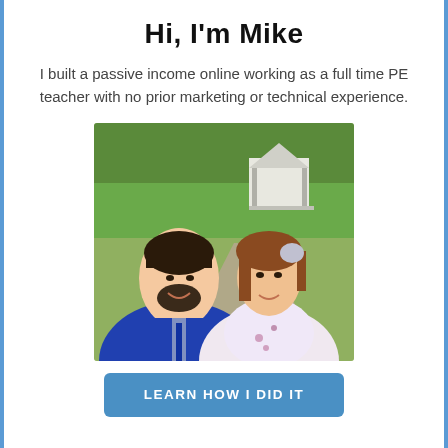Hi, I'm Mike
I built a passive income online working as a full time PE teacher with no prior marketing or technical experience.
[Figure (photo): A smiling couple outdoors near a gazebo. The man on the left wears a blue suit jacket and tie, has dark hair and a beard. The woman on the right has auburn hair and wears a floral dress. Trees and a white gazebo are visible in the background.]
LEARN HOW I DID IT